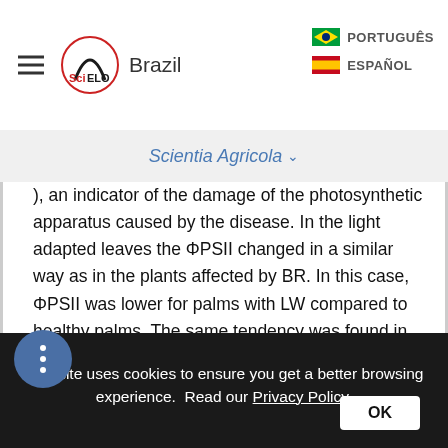SciELO Brazil | PORTUGUÊS | ESPAÑOL
Scientia Agricola ▾
), an indicator of the damage of the photosynthetic apparatus caused by the disease. In the light adapted leaves the ΦPSII changed in a similar way as in the plants affected by BR. In this case, ΦPSII was lower for palms with LW compared to healthy palms. The same tendency was found in other parameters such as maximum fluorescence ( F M ') and steady stage fluorescence ( Fs ); however, there was a difference in the latter parameter between healthy palms outside and within centers of infection, with significantly lower values observed for HWC palms.
This site uses cookies to ensure you get a better browsing experience. Read our Privacy Policy.